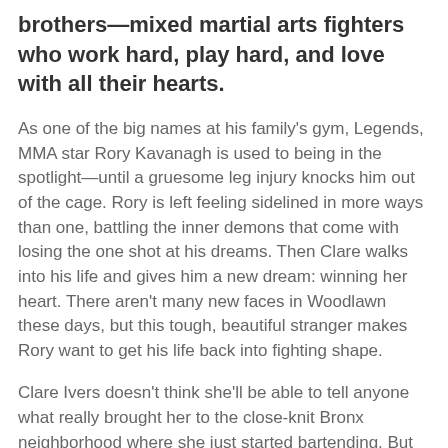brothers—mixed martial arts fighters who work hard, play hard, and love with all their hearts.
As one of the big names at his family's gym, Legends, MMA star Rory Kavanagh is used to being in the spotlight—until a gruesome leg injury knocks him out of the cage. Rory is left feeling sidelined in more ways than one, battling the inner demons that come with losing the one shot at his dreams. Then Clare walks into his life and gives him a new dream: winning her heart. There aren't many new faces in Woodlawn these days, but this tough, beautiful stranger makes Rory want to get his life back into fighting shape.
Clare Ivers doesn't think she'll be able to tell anyone what really brought her to the close-knit Bronx neighborhood where she just started bartending. But her life's on pause and her past is catching up fast, try as she might to move on—with new friends, steady work, and a chiseled